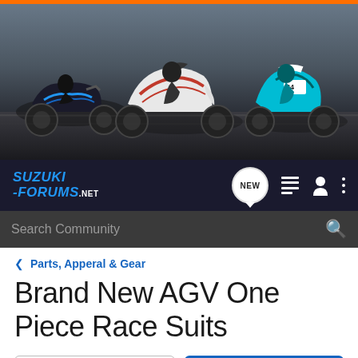[Figure (photo): Suzuki Forums website banner header showing three motorcycles riding on a track against a dark background. Three sport bikes visible: a naked/streetfighter on the left, a white sport bike in the center, and a blue/cyan race bike on the right.]
SUZUKI-FORUMS.NET — navigation bar with NEW button, list icon, user icon, more options icon, and Search Community search bar
< Parts, Apperal & Gear
Brand New AGV One Piece Race Suits
→ Jump to Latest   + Follow
1 - 9 of 9 Posts